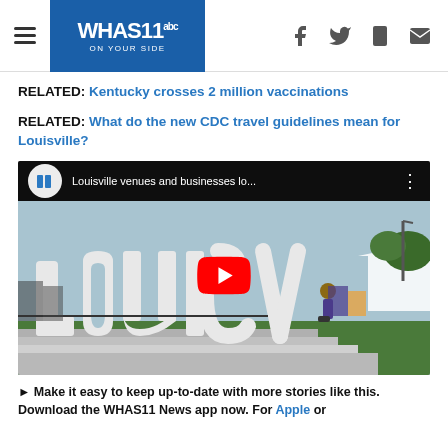WHAS11 abc ON YOUR SIDE
RELATED: Kentucky crosses 2 million vaccinations
RELATED: What do the new CDC travel guidelines mean for Louisville?
[Figure (screenshot): YouTube video thumbnail showing Louisville venues and businesses, with large white 3D LOUISVILLE letters sculpture in foreground and people in background. YouTube play button overlay visible.]
► Make it easy to keep up-to-date with more stories like this. Download the WHAS11 News app now. For Apple or